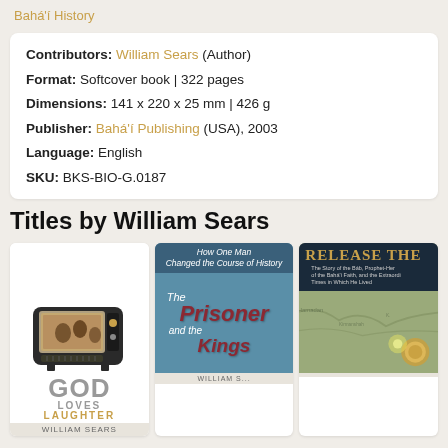Bahá'í History
Contributors: William Sears (Author)
Format: Softcover book | 322 pages
Dimensions: 141 x 220 x 25 mm | 426 g
Publisher: Bahá'í Publishing (USA), 2003
Language: English
SKU: BKS-BIO-G.0187
Titles by William Sears
[Figure (photo): Book cover: God Loves Laughter by William Sears, showing a vintage TV set image at top and large grey text GOD LOVES LAUGHTER]
[Figure (photo): Book cover: The Prisoner and the Kings by William Sears, blue background with subtitle 'How One Man Changed the Course of History']
[Figure (photo): Book cover: Release The by William Sears, showing a map background with gold title text]